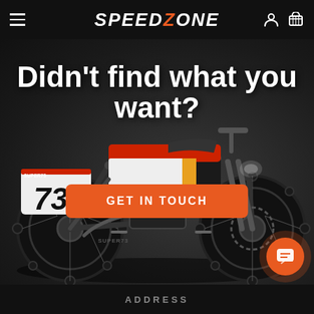SPEED ZONE
[Figure (photo): Electric motorbike (Super73 style) photographed against a dark grey background. The bike is black with red/white/yellow racing graphics and the number 73 on the frame. Large knobby tires visible front and rear.]
Didn't find what you want?
GET IN TOUCH
ADDRESS